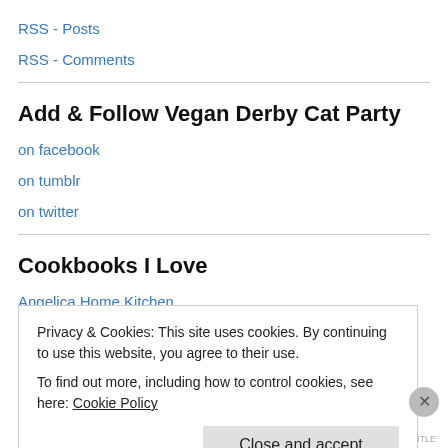RSS - Posts
RSS - Comments
Add & Follow Vegan Derby Cat Party
on facebook
on tumblr
on twitter
Cookbooks I Love
Angelica Home Kitchen
Privacy & Cookies: This site uses cookies. By continuing to use this website, you agree to their use.
To find out more, including how to control cookies, see here: Cookie Policy